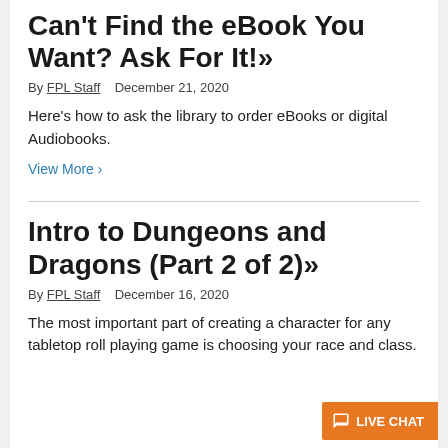Can't Find the eBook You Want? Ask For It!»
By FPL Staff   December 21, 2020
Here's how to ask the library to order eBooks or digital Audiobooks.
View More >
Intro to Dungeons and Dragons (Part 2 of 2)»
By FPL Staff   December 16, 2020
The most important part of creating a character for any tabletop roll playing game is choosing your race and class.